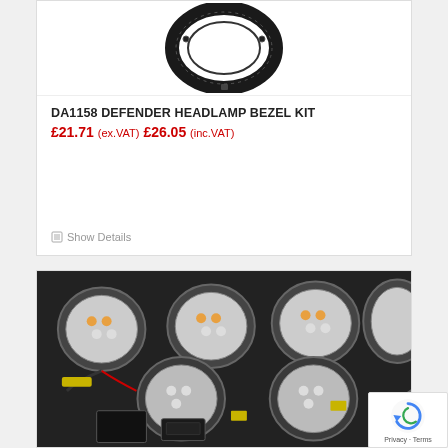[Figure (photo): Black circular headlamp bezel ring component shown from front, product image on white background]
DA1158 DEFENDER HEADLAMP BEZEL KIT
£21.71 (ex.VAT) £26.05 (inc.VAT)
Show Details
[Figure (photo): Multiple round LED light units with wiring harnesses and electronic components arranged on dark background, LED light upgrade kit]